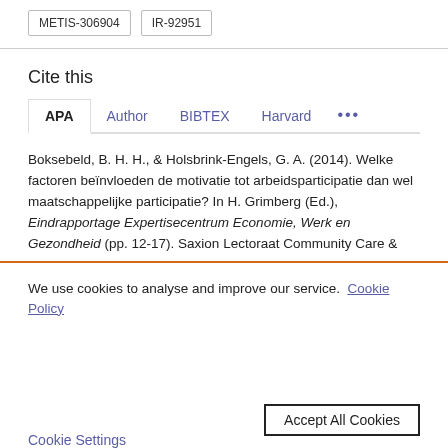METIS-306904   IR-92951
Cite this
APA   Author   BIBTEX   Harvard   ...
Boksebeld, B. H. H., & Holsbrink-Engels, G. A. (2014). Welke factoren beïnvloeden de motivatie tot arbeidsparticipatie dan wel maatschappelijke participatie? In H. Grimberg (Ed.), Eindrapportage Expertisecentrum Economie, Werk en Gezondheid (pp. 12-17). Saxion Lectoraat Community Care &
We use cookies to analyse and improve our service. Cookie Policy
Cookie Settings   Accept All Cookies